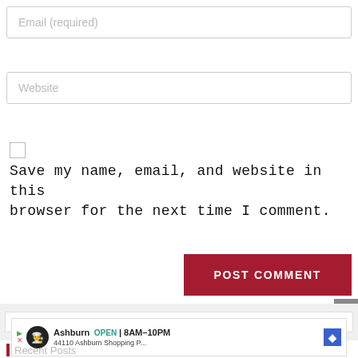Email (required)
Website
Save my name, email, and website in this browser for the next time I comment.
POST COMMENT
Search
[Figure (screenshot): Advertisement banner: Ashburn OPEN 8AM-10PM, 44110 Ashburn Shopping P...]
Recent Posts